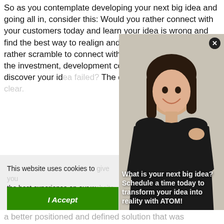So as you contemplate developing your next big idea and going all in, consider this: Would you rather connect with your customers today and learn your idea is wrong and find the best way to realign and revise? Or would you rather scramble to connect with your customers after all the investment, development co[sts are] finished, and discover your id[ea failed?] The decision should be cryst[al clear.]
[Figure (photo): A popup video widget showing a smiling woman in a black t-shirt with overlay text: 'What is your next big idea? Schedule a time today to transform your idea into reality with ATOM!' A close (x) button appears at top right.]
This website uses cookies to [give you] the best experience on our w[ebsite.]
See our Privacy Policy.
I Accept
a better positioned and defined solution that was